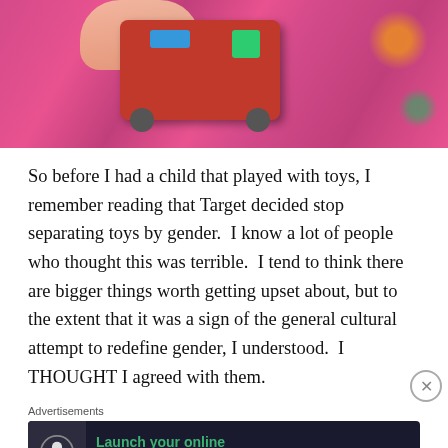[Figure (photo): Close-up photo of a baby/child's hand holding a red toy vehicle (train or car), against a pink and red floral fabric background.]
So before I had a child that played with toys, I remember reading that Target decided stop separating toys by gender.  I know a lot of people who thought this was terrible.  I tend to think there are bigger things worth getting upset about, but to the extent that it was a sign of the general cultural attempt to redefine gender, I understood.  I THOUGHT I agreed with them.
Advertisements
[Figure (screenshot): Advertisement banner: dark background with tree/person icon, green text 'Launch your online course with WordPress', and 'Learn More' button.]